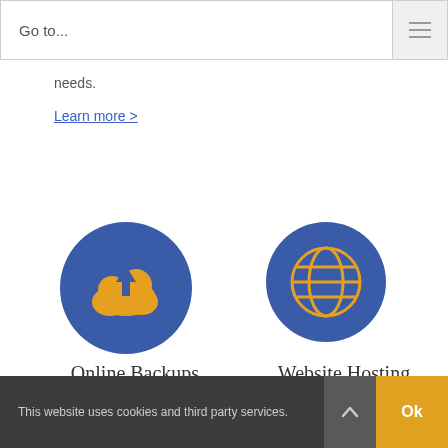Go to...
needs.
Learn more >
[Figure (illustration): Blue circle icon with orange cloud and upload arrow — Online Backups]
[Figure (illustration): Blue circle icon with orange globe/world — Website Hosting]
Online Backups
Website Hosting
With 3 plans to choose from,
We provide complete
This website uses cookies and third party services.